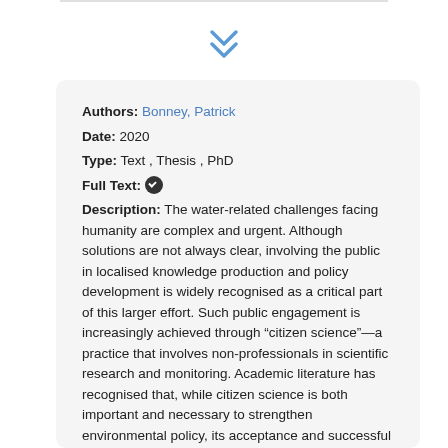Authors: Bonney, Patrick
Date: 2020
Type: Text , Thesis , PhD
Full Text: ✔
Description: The water-related challenges facing humanity are complex and urgent. Although solutions are not always clear, involving the public in localised knowledge production and policy development is widely recognised as a critical part of this larger effort. Such public engagement is increasingly achieved through “citizen science”—a practice that involves non-professionals in scientific research and monitoring. Academic literature has recognised that, while citizen science is both important and necessary to strengthen environmental policy, its acceptance and successful implementation is a difficult governance challenge. Researchers agree that overcoming this